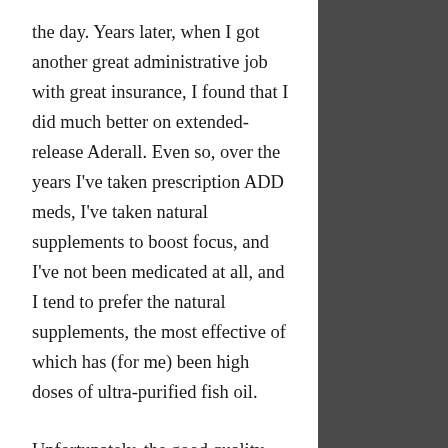the day. Years later, when I got another great administrative job with great insurance, I found that I did much better on extended-release Aderall. Even so, over the years I've taken prescription ADD meds, I've taken natural supplements to boost focus, and I've not been medicated at all, and I tend to prefer the natural supplements, the most effective of which has (for me) been high doses of ultra-purified fish oil.
Unfortunately, the good quality fish oil that won't give you mercury